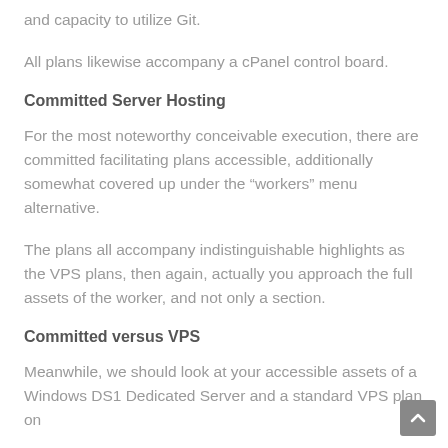and capacity to utilize Git.
All plans likewise accompany a cPanel control board.
Committed Server Hosting
For the most noteworthy conceivable execution, there are committed facilitating plans accessible, additionally somewhat covered up under the “workers” menu alternative.
The plans all accompany indistinguishable highlights as the VPS plans, then again, actually you approach the full assets of the worker, and not only a section.
Committed versus VPS
Meanwhile, we should look at your accessible assets of a Windows DS1 Dedicated Server and a standard VPS plan on